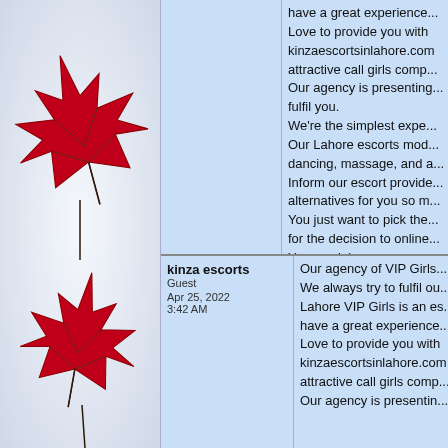[Figure (photo): Two red maple leaves on a white snowy background, arranged vertically on the left side of the page.]
have a great experience... Love to provide you with kinzaescortsinlahore.com attractive call girls comp... Our agency is presenting... fulfil you. We're the simplest expe... Our Lahore escorts mod... dancing, massage, and a... Inform our escort provide... alternatives for you so m... You just want to pick the... for the decision to online... You can join us.
Call Girls in Lahore
Lahore Escorts
Escorts in Lahore
Escorts Service Lahore
Independent Girls in Lah...
Night Girls in Lahore
Full Night Girls in Lahore
Lahore Call Girls
kinza escorts
Guest
Apr 25, 2022
3:42 AM
Our agency of VIP Girls... We always try to fulfil ou... Lahore VIP Girls is an es... have a great experience... Love to provide you with kinzaescortsinlahore.com attractive call girls comp... Our agency is presentin...